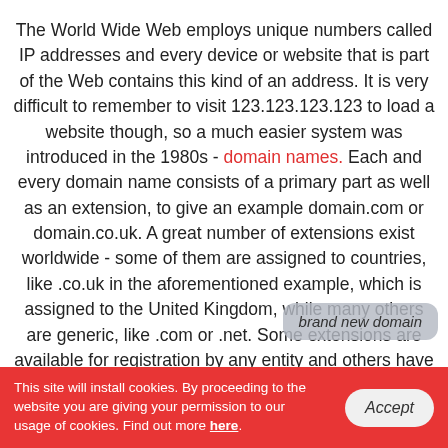The World Wide Web employs unique numbers called IP addresses and every device or website that is part of the Web contains this kind of an address. It is very difficult to remember to visit 123.123.123.123 to load a website though, so a much easier system was introduced in the 1980s - domain names. Each and every domain name consists of a primary part as well as an extension, to give an example domain.com or domain.co.uk. A great number of extensions exist worldwide - some of them are assigned to countries, like .co.uk in the aforementioned example, which is assigned to the United Kingdom, while many others are generic, like .com or .net. Some extensions are available for registration by any entity and others have certain requirements - company registration, regional presence, etcetera. You can get a brand new domain name through a registrar firm such as ours and if the extension
This site will install cookies. By proceeding to the website you are giving your permission to our usage of cookies. Find out more here.